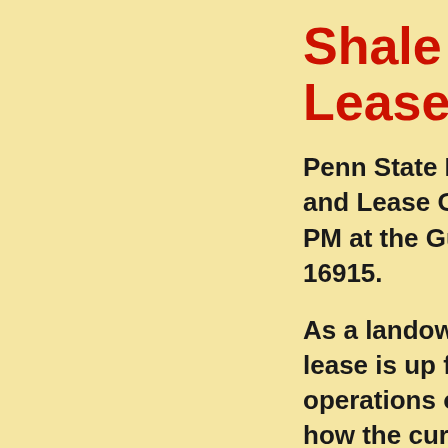Shale Gas Lease Options
Penn State Extension and Lease Options PM at the Gunzburg 16915.
As a landowner, lease is up for renewal, operations on or how the current speakers, Dan B Educator, and Bu Mineral Officer a